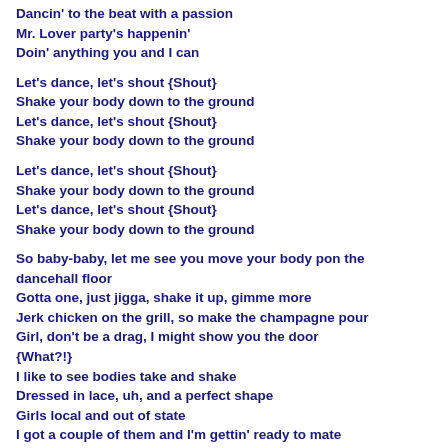Dancin' to the beat with a passion
Mr. Lover party's happenin'
Doin' anything you and I can
Let's dance, let's shout {Shout}
Shake your body down to the ground
Let's dance, let's shout {Shout}
Shake your body down to the ground
Let's dance, let's shout {Shout}
Shake your body down to the ground
Let's dance, let's shout {Shout}
Shake your body down to the ground
So baby-baby, let me see you move your body pon the dancehall floor
Gotta one, just jigga, shake it up, gimme more
Jerk chicken on the grill, so make the champagne pour
Girl, don't be a drag, I might show you the door {What?!}
I like to see bodies take and shake
Dressed in lace, uh, and a perfect shape
Girls local and out of state
I got a couple of them and I'm gettin' ready to mate
Cassandra, let's shake {Shout}
Shake your body down to the ground
Michelle, let's shake{Shout}
Shake your body down to the ground